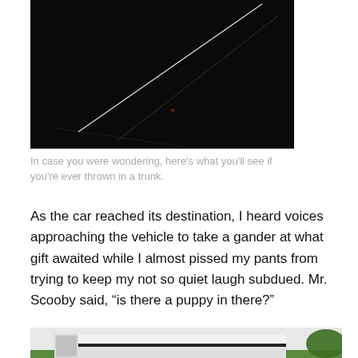[Figure (photo): Dark interior view from inside a car trunk, showing faint light streaks against a black background]
In case you were wondering, here's what you'll see if you're ever thrown in a trunk.
As the car reached its destination, I heard voices approaching the vehicle to take a gander at what gift awaited while I almost pissed my pants from trying to keep my not so quiet laugh subdued. Mr. Scooby said, “is there a puppy in there?”
[Figure (photo): Exterior view of a car trunk partially open, with green grass and trees visible in the background]